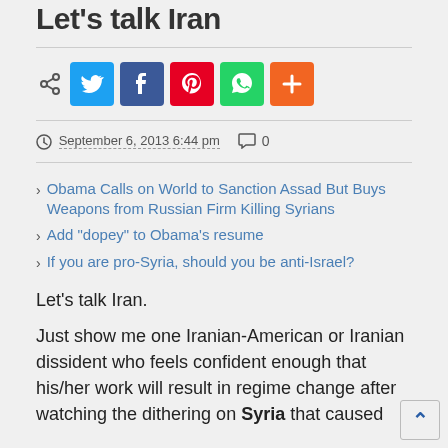Let's talk Iran
[Figure (infographic): Social sharing icons row: share icon, Twitter (blue), Facebook (dark blue), Pinterest (red), WhatsApp (green), More/Plus (orange)]
September 6, 2013 6:44 pm   0
Obama Calls on World to Sanction Assad But Buys Weapons from Russian Firm Killing Syrians
Add “dopey” to Obama’s resume
If you are pro-Syria, should you be anti-Israel?
Let’s talk Iran.
Just show me one Iranian-American or Iranian dissident who feels confident enough that his/her work will result in regime change after watching the dithering on Syria that caused